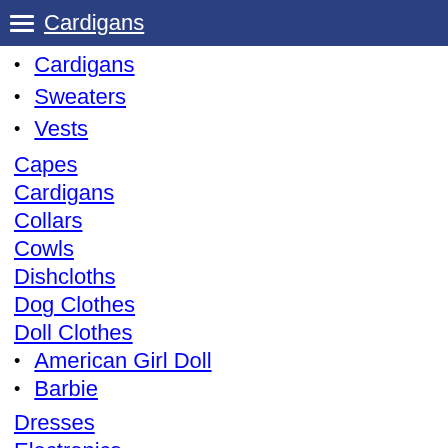Cardigans (navigation header)
Cardigans
Sweaters
Vests
Capes
Cardigans
Collars
Cowls
Dishcloths
Dog Clothes
Doll Clothes
American Girl Doll
Barbie
Dresses
Electronics